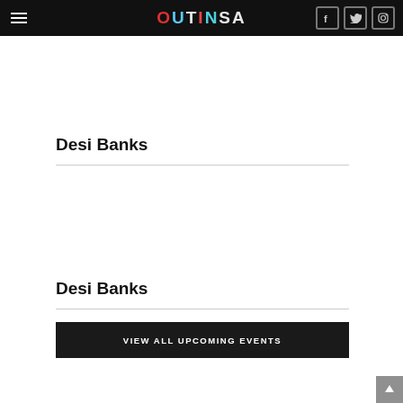OUTINSA
Desi Banks
Desi Banks
VIEW ALL UPCOMING EVENTS